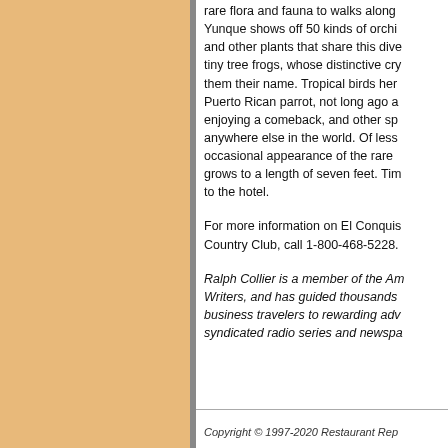rare flora and fauna to walks along... Yunque shows off 50 kinds of orchi... and other plants that share this dive... tiny tree frogs, whose distinctive cry... them their name. Tropical birds her... Puerto Rican parrot, not long ago a... enjoying a comeback, and other sp... anywhere else in the world. Of less... occasional appearance of the rare ... grows to a length of seven feet. Tim... to the hotel.
For more information on El Conquis... Country Club, call 1-800-468-5228.
Ralph Collier is a member of the Am... Writers, and has guided thousands ... business travelers to rewarding adv... syndicated radio series and newspa...
Copyright © 1997-2020 Restaurant Rep...